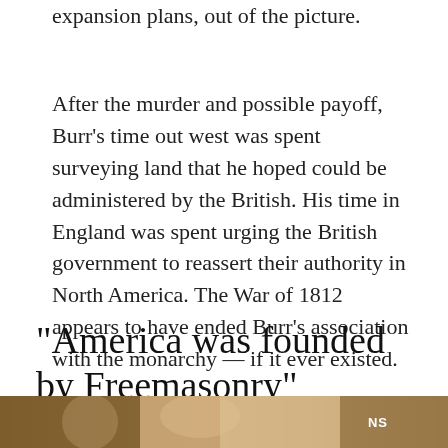expansion plans, out of the picture.
After the murder and possible payoff, Burr's time out west was spent surveying land that he hoped could be administered by the British. His time in England was spent urging the British government to reassert their authority in North America. The War of 1812 appears to have ended Burr's association with the monarchy — if it ever existed.
"America was founded by Freemasonry"
[Figure (photo): Partial photo strip at the bottom of the page showing what appears to be a person, partially visible, with text 'NS' visible on the right side.]